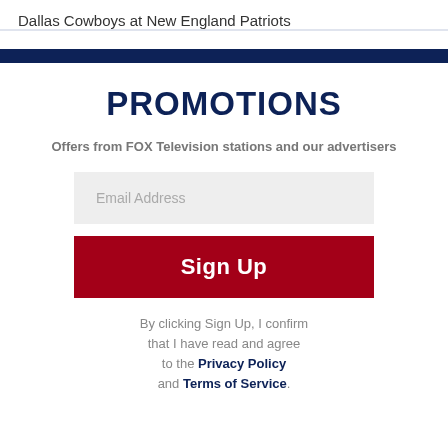Dallas Cowboys at New England Patriots
PROMOTIONS
Offers from FOX Television stations and our advertisers
Email Address
Sign Up
By clicking Sign Up, I confirm that I have read and agree to the Privacy Policy and Terms of Service.